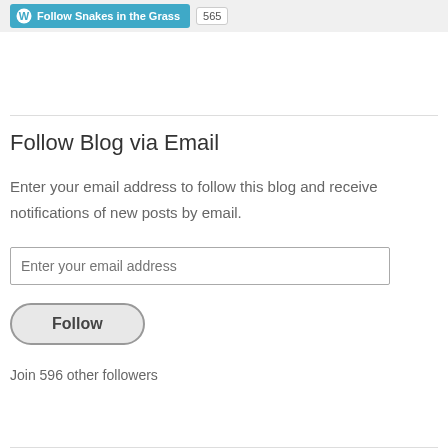[Figure (other): WordPress Follow button for 'Snakes in the Grass' blog with follower count badge showing 565]
Follow Blog via Email
Enter your email address to follow this blog and receive notifications of new posts by email.
Enter your email address
Follow
Join 596 other followers